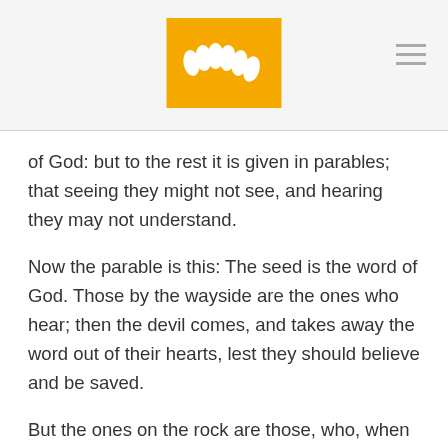[Figure (logo): Golden wheat/grain logo on yellow/amber square background with hamburger menu icon in top right]
of God: but to the rest it is given in parables; that seeing they might not see, and hearing they may not understand.
Now the parable is this: The seed is the word of God. Those by the wayside are the ones who hear; then the devil comes, and takes away the word out of their hearts, lest they should believe and be saved.
But the ones on the rock are those, who, when they hear, receive the word with joy; and these have no root, who believe for a while, and in time of temptation fall